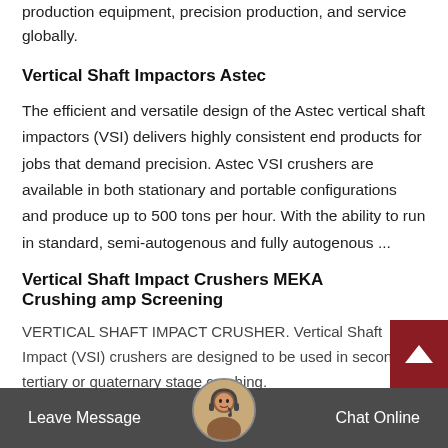production equipment, precision production, and service globally.
Vertical Shaft Impactors Astec
The efficient and versatile design of the Astec vertical shaft impactors (VSI) delivers highly consistent end products for jobs that demand precision. Astec VSI crushers are available in both stationary and portable configurations and produce up to 500 tons per hour. With the ability to run in standard, semi-autogenous and fully autogenous ...
Vertical Shaft Impact Crushers MEKA Crushing amp Screening
VERTICAL SHAFT IMPACT CRUSHER. Vertical Shaft Impact (VSI) crushers are designed to be used in secondary, tertiary or quaternary stage crushing.
[Figure (other): Scroll-to-top button (dark red background with white upward arrow)]
[Figure (other): Chat bar overlay with Leave Message button, customer service avatar, and Chat Online button]